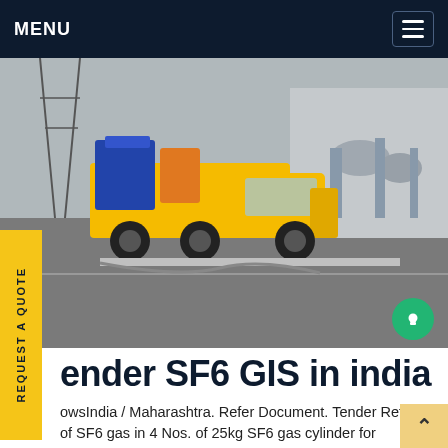MENU
[Figure (photo): Yellow ISUZU truck carrying SF6 gas equipment/machinery at an electrical substation yard. Industrial equipment visible in background.]
ender SF6 GIS in india
owsIndia / Maharashtra. Refer Document. Tender Refilling of SF6 gas in 4 Nos. of 25kg SF6 gas cylinder for 220/132/110 kV Substations, under EHV O M Division,Ratnagiri. View Tender Detail. 1398316211030. 30-Oct-2021.Get price